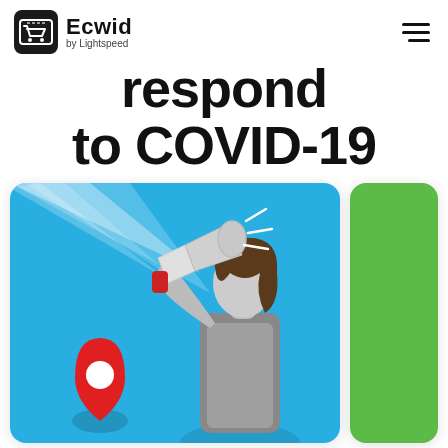Ecwid by Lightspeed
respond to COVID-19
[Figure (illustration): Illustration of a woman holding a megaphone with a red location pin on a blue background, inside a card/frame. Partial green card visible on the right edge.]